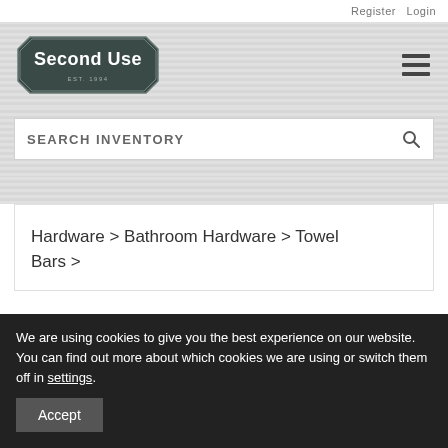Register  Login
[Figure (logo): Second Use logo - dark octagonal badge with white text 'Second Use Est. 1994']
SEARCH INVENTORY
Hardware > Bathroom Hardware > Towel Bars >
We are using cookies to give you the best experience on our website.
You can find out more about which cookies we are using or switch them off in settings.
Accept